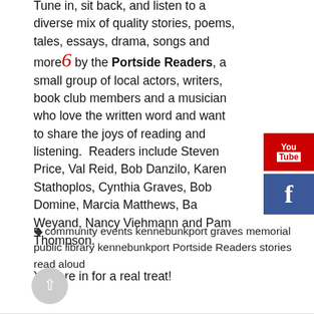Tune in, sit back, and listen to a diverse mix of quality stories, poems, tales, essays, drama, songs and more by the Portside Readers, a small group of local actors, writers, book club members and a musician who love the written word and want to share the joys of reading and listening.  Readers include Steven Price, Val Reid, Bob Danzilo, Karen Stathoplos, Cynthia Graves, Bob Domine, Marcia Matthews, Barbara Weyand, Nancy Viehmann and Pam Thompson.

You are in for a real treat!
[Figure (logo): YouTube button (red background with You/Tube logo in white)]
[Figure (logo): Facebook button (blue background with white 'f' logo)]
community events kennebunkport graves memorial public library kennebunkport Portside Readers stories read aloud
[Figure (other): Scroll-to-top button: circular grey button with upward arrow]